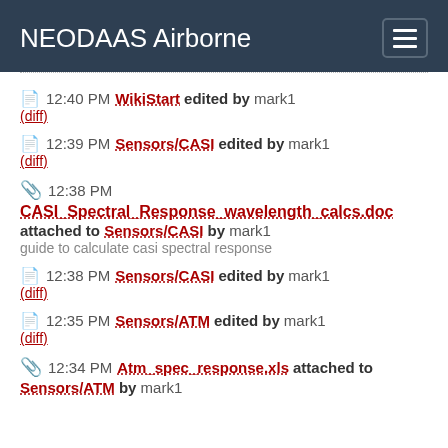NEODAAS Airborne
12:40 PM WikiStart edited by mark1 (diff)
12:39 PM Sensors/CASI edited by mark1 (diff)
12:38 PM CASI_Spectral_Response_wavelength_calcs.doc attached to Sensors/CASI by mark1 guide to calculate casi spectral response
12:38 PM Sensors/CASI edited by mark1 (diff)
12:35 PM Sensors/ATM edited by mark1 (diff)
12:34 PM Atm_spec_response.xls attached to Sensors/ATM by mark1